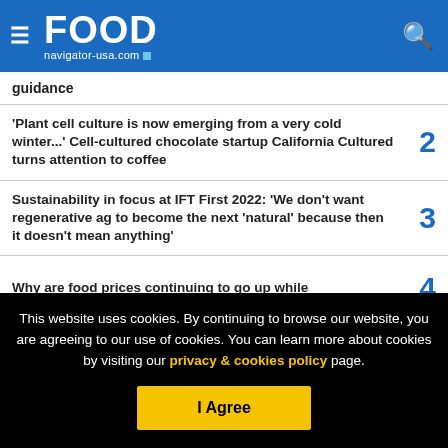FOOD navigator-usa.com
guidance
'Plant cell culture is now emerging from a very cold winter...' Cell-cultured chocolate startup California Cultured turns attention to coffee  2
Sustainability in focus at IFT First 2022: 'We don't want regenerative ag to become the next 'natural' because then it doesn't mean anything'  3
Why are food prices continuing to go up while  4
This website uses cookies. By continuing to browse our website, you are agreeing to our use of cookies. You can learn more about cookies by visiting our privacy & cookies policy page.
I Agree